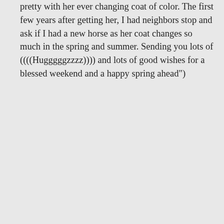pretty with her ever changing coat of color. The first few years after getting her, I had neighbors stop and ask if I had a new horse as her coat changes so much in the spring and summer. Sending you lots of ((((Hugggggzzzz)))) and lots of good wishes for a blessed weekend and a happy spring ahead")
★ Liked by 1 person
Log in to Reply
Nylabluesmum on March 22, 2015 at 7:02 am
Hello HRCG!!! It seems like ages since I last bett I'll be on chat Seri